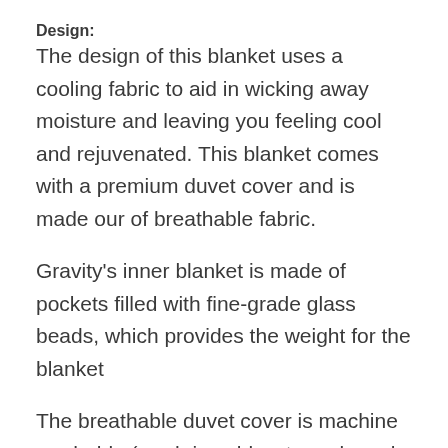Design:
The design of this blanket uses a cooling fabric to aid in wicking away moisture and leaving you feeling cool and rejuvenated. This blanket comes with a premium duvet cover and is made our of breathable fabric.
Gravity's inner blanket is made of pockets filled with fine-grade glass beads, which provides the weight for the blanket
The breathable duvet cover is machine washable (wash in cold water only and